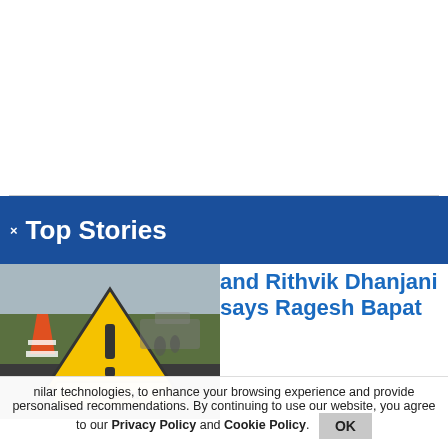Top Stories
[Figure (photo): Photo of a road accident scene with a yellow warning triangle sign reading 'Accident' and traffic cones, blurred emergency vehicles in background]
and Rithvik Dhanjani says Ragesh Bapat
nilar technologies, to enhance your browsing experience and provide personalised recommendations. By continuing to use our website, you agree to our Privacy Policy and Cookie Policy.
OK